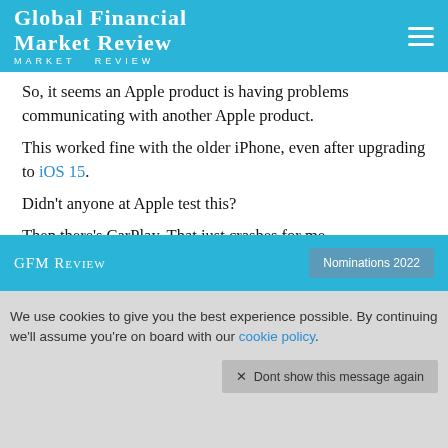Global Financial Market Review
So, it seems an Apple product is having problems communicating with another Apple product.
This worked fine with the older iPhone, even after upgrading to iOS 15.
Didn't anyone at Apple test this?
Then there's CarPlay. That just crashes for me.
A quick search of social media suggests I'm not alone here. Plenty of other beta testers who paid Apple full price are reporting the same issue.
GFM Review | Nominations 2022
We use cookies to give you the best experience possible. By continuing we'll assume you're on board with our cookie policy. × Dont show this message again